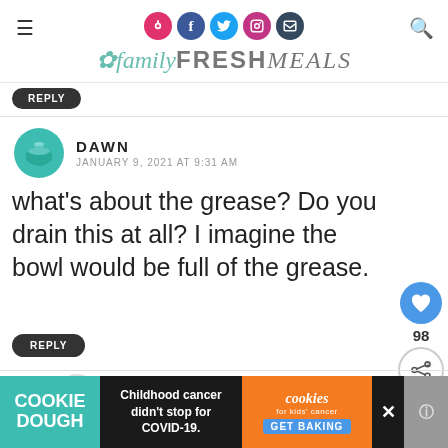familyFRESHMEALS
REPLY
DAWN
JANUARY 9, 2021 AT 9:31 AM
what’s about the grease? Do you drain this at all? I imagine the bowl would be full of the grease.
98
REPLY
COREY
JANUARY 9, 2021 AT 10:32 AM
WHAT’S NEXT →
Fully Loaded Potato Salad
This is why I recommend extra lean beef,
[Figure (other): Advertisement banner: Cookie Dough / Childhood cancer didn't stop for COVID-19. / cookies for kids' cancer GET BAKING]